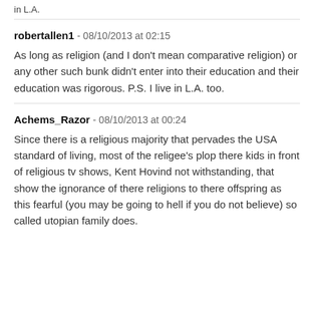in L.A.
robertallen1 - 08/10/2013 at 02:15
As long as religion (and I don't mean comparative religion) or any other such bunk didn't enter into their education and their education was rigorous. P.S. I live in L.A. too.
Achems_Razor - 08/10/2013 at 00:24
Since there is a religious majority that pervades the USA standard of living, most of the religee's plop there kids in front of religious tv shows, Kent Hovind not withstanding, that show the ignorance of there religions to there offspring as this fearful (you may be going to hell if you do not believe) so called utopian family does.